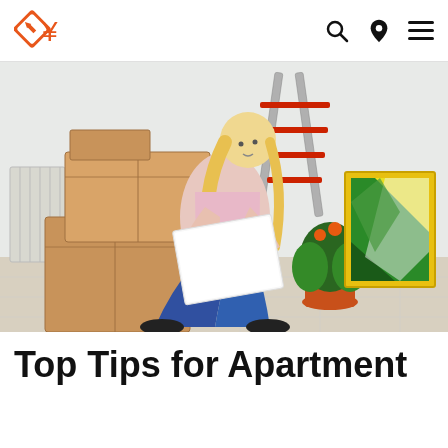Logo and navigation icons (search, location, menu)
[Figure (photo): A blonde woman sitting cross-legged on a tiled floor reading papers/documents, surrounded by cardboard moving boxes on the left, a step ladder and potted plant with orange flowers in the background, and a green and yellow abstract painting leaning against the wall on the right.]
Top Tips for Apartment